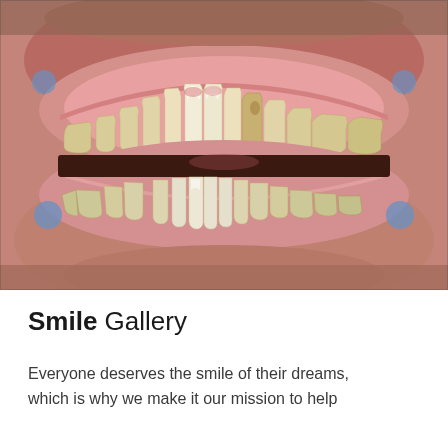[Figure (photo): Close-up clinical dental photograph showing a patient's teeth — upper and lower arches visible with mouth open, displaying natural teeth with some discoloration and crowding, gums visible, taken from a frontal view.]
Smile Gallery
Everyone deserves the smile of their dreams, which is why we make it our mission to help